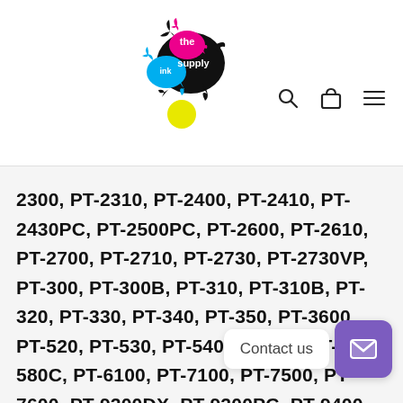the ink supply — logo and navigation
2300, PT-2310, PT-2400, PT-2410, PT-2430PC, PT-2500PC, PT-2600, PT-2610, PT-2700, PT-2710, PT-2730, PT-2730VP, PT-300, PT-300B, PT-310, PT-310B, PT-320, PT-330, PT-340, PT-350, PT-3600, PT-520, PT-530, PT-540, PT-550, PT-580C, PT-6100, PT-7100, PT-7500, PT-7600, PT-9200DX, PT-9200PC, PT-9400, PT-9500PC, PT-9600, PT-9700PC, PT-9800PCN, PT-D200, PT-D200KN, PT-D210, PT-D215e, PT-D400, PT-D400VP, PT-D450, PT-D600, PT-D800W, PT-E100, PT-E105, PT-E110, PT-E300, PT-E300VP, PT-E500,